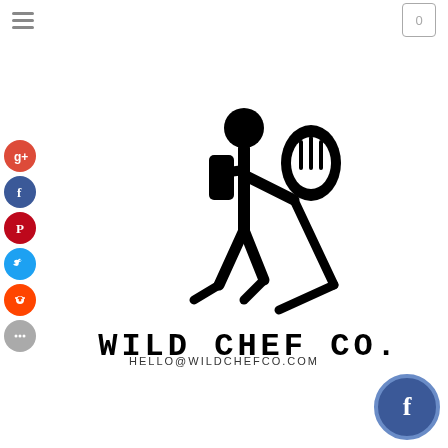[Figure (logo): Wild Chef Co. logo: stick figure hiker carrying a backpack and holding a large fork/spoon, with text WILD CHEF CO. beneath in bold monospace font]
HELLO@WILDCHEFCO.COM
[Figure (logo): Facebook logo button (white f on blue circle with blue border) in bottom right corner]
[Figure (infographic): Left side social sharing buttons: Google+, Facebook, Pinterest, Twitter, Reddit, More (grey dots)]